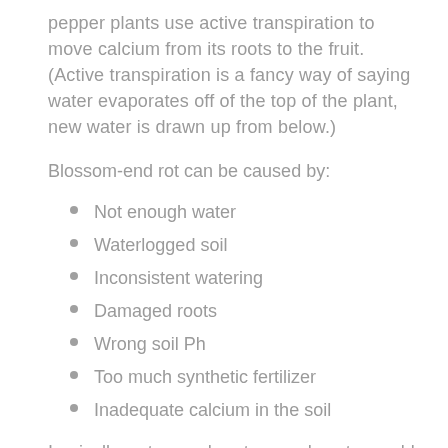pepper plants use active transpiration to move calcium from its roots to the fruit. (Active transpiration is a fancy way of saying water evaporates off of the top of the plant, new water is drawn up from below.)
Blossom-end rot can be caused by:
Not enough water
Waterlogged soil
Inconsistent watering
Damaged roots
Wrong soil Ph
Too much synthetic fertilizer
Inadequate calcium in the soil
Ironically, not enough or too much water could be the problem. A good way to tell is to grab a handful of soil (1” or 2” deep), and you should be able to make a